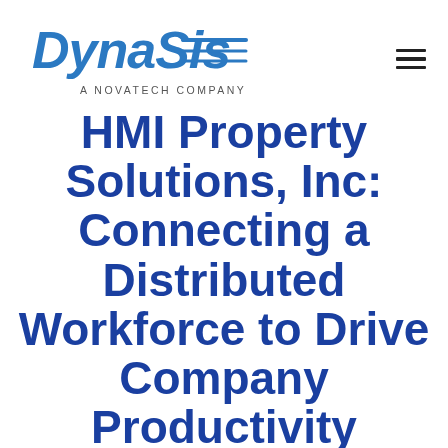[Figure (logo): DynaSis logo with speed lines and 'A NOVATECH COMPANY' tagline, plus hamburger menu icon]
HMI Property Solutions, Inc: Connecting a Distributed Workforce to Drive Company Productivity